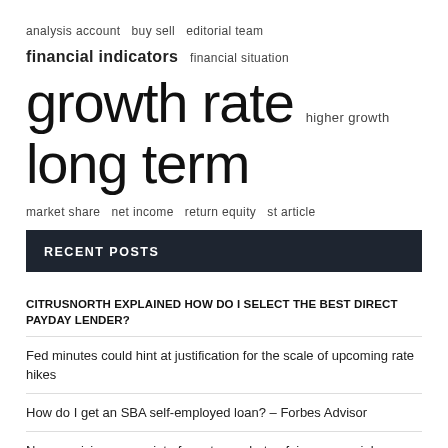analysis account  buy sell  editorial team
financial indicators  financial situation
growth rate  higher growth  long term
market share  net income  return equity  st article
twelve months  united states  wall st
RECENT POSTS
CITRUSNORTH EXPLAINED HOW DO I SELECT THE BEST DIRECT PAYDAY LENDER?
Fed minutes could hint at justification for the scale of upcoming rate hikes
How do I get an SBA self-employed loan? – Forbes Advisor
New provisions come into force to combat unfair commercial